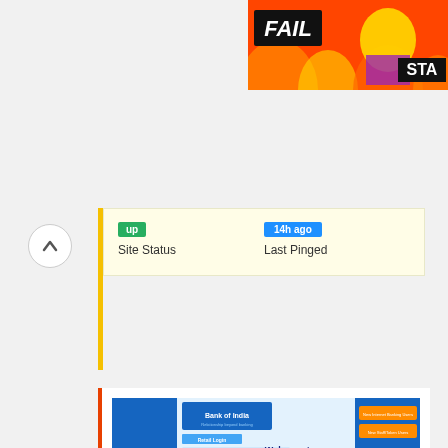[Figure (screenshot): Advertisement banner with FAIL text and animated character, red/orange background, STA text on right]
up
Site Status
14h ago
Last Pinged
[Figure (screenshot): Bank of India Internet Banking Retail Signon page screenshot showing login form with virtual keyboard and welcome message]
Bank of India Internet Banking Retail Signon